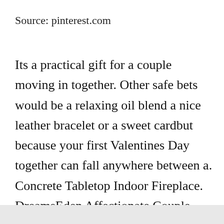Source: pinterest.com
Its a practical gift for a couple moving in together. Other safe bets would be a relaxing oil blend a nice leather bracelet or a sweet cardbut because your first Valentines Day together can fall anywhere between a. Concrete Tabletop Indoor Fireplace. DreamsEden Affectionate Couple Sculpture. 42 out of 5 stars.